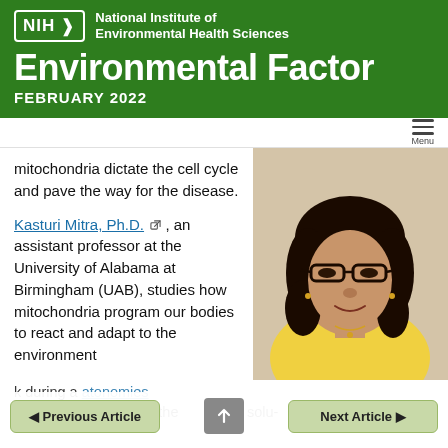[Figure (logo): NIH National Institute of Environmental Health Sciences logo with green background]
Environmental Factor
FEBRUARY 2022
mitochondria dictate the cell cycle and pave the way for the disease.
Kasturi Mitra, Ph.D., an assistant professor at the University of Alabama at Birmingham (UAB), studies how mitochondria program our bodies to react and adapt to the environment
[Figure (photo): Photo of Kasturi Mitra, Ph.D., a woman with glasses and curly dark hair wearing a yellow top, smiling]
k during a pat- to presentation in the